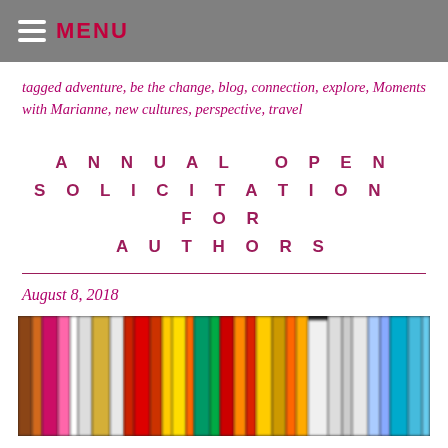MENU
tagged adventure, be the change, blog, connection, explore, Moments with Marianne, new cultures, perspective, travel
ANNUAL OPEN SOLICITATION FOR AUTHORS
August 8, 2018
[Figure (photo): A row of colorful books on a shelf, viewed from the spine side, blurred/bokeh background]